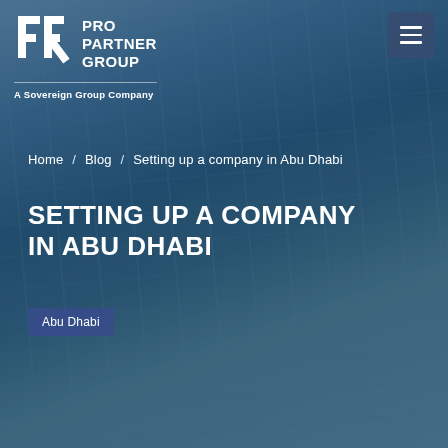[Figure (screenshot): Hero background image showing glass skyscraper buildings from a low angle perspective with blue sky, overlaid with dark tint. Contains website header with Pro Partner Group logo, navigation menu button, breadcrumb navigation, main page title, and category tag.]
PRO PARTNER GROUP — A Sovereign Group Company
Home / Blog / Setting up a company in Abu Dhabi
SETTING UP A COMPANY IN ABU DHABI
Abu Dhabi